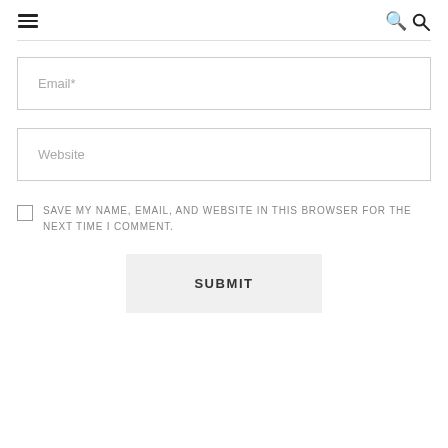[Figure (other): Hamburger menu icon (three horizontal lines)]
[Figure (other): Search/magnifying glass icon]
Email*
Website
SAVE MY NAME, EMAIL, AND WEBSITE IN THIS BROWSER FOR THE NEXT TIME I COMMENT.
SUBMIT